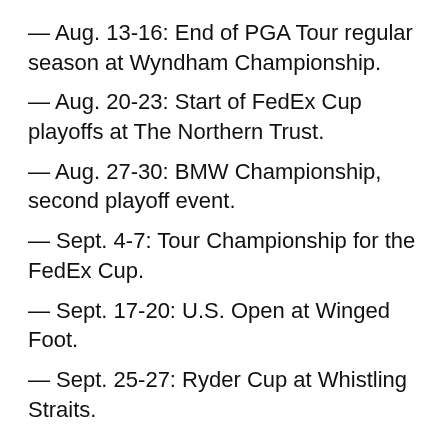— Aug. 13-16: End of PGA Tour regular season at Wyndham Championship.
— Aug. 20-23: Start of FedEx Cup playoffs at The Northern Trust.
— Aug. 27-30: BMW Championship, second playoff event.
— Sept. 4-7: Tour Championship for the FedEx Cup.
— Sept. 17-20: U.S. Open at Winged Foot.
— Sept. 25-27: Ryder Cup at Whistling Straits.
It was not immediately clear how the teams from Europe and the United States would be determined for the Ryder Cup, although European captain Padraig Harrington has said he would not be opposed to picking all 12 players.